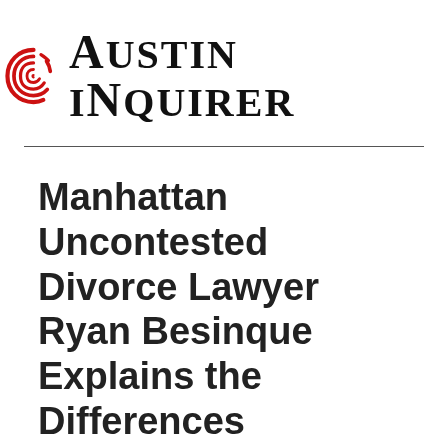[Figure (logo): Austin Inquirer logo with red fingerprint/wave icon and bold serif text]
Manhattan Uncontested Divorce Lawyer Ryan Besinque Explains the Differences Between Contested